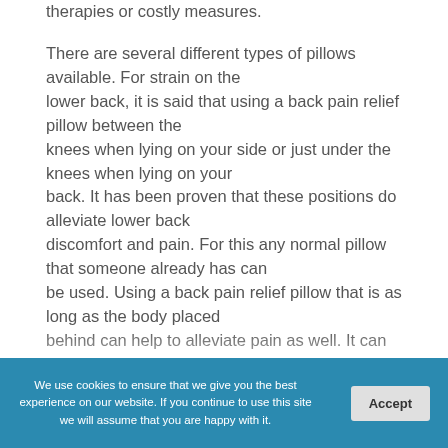therapies or costly measures. There are several different types of pillows available. For strain on the lower back, it is said that using a back pain relief pillow between the knees when lying on your side or just under the knees when lying on your back. It has been proven that these positions do alleviate lower back discomfort and pain. For this any normal pillow that someone already has can be used. Using a back pain relief pillow that is as long as the body placed behind can help to alleviate pain as well. It can support the head and neck and the back and knees at the same time. However
We use cookies to ensure that we give you the best experience on our website. If you continue to use this site we will assume that you are happy with it.